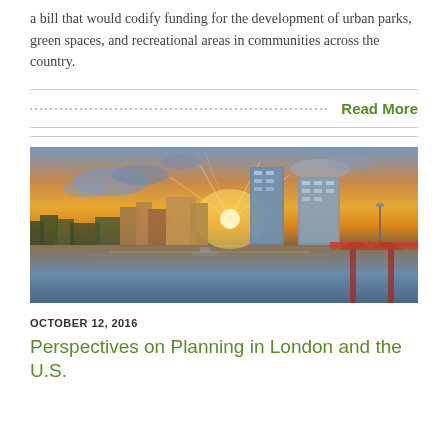a bill that would codify funding for the development of urban parks, green spaces, and recreational areas in communities across the country.
Read More
[Figure (photo): City skyline at sunset with a river in the foreground and a bridge on the right side. Warm orange and golden tones in the sky with clouds. Modern glass skyscrapers are visible.]
OCTOBER 12, 2016
Perspectives on Planning in London and the U.S.